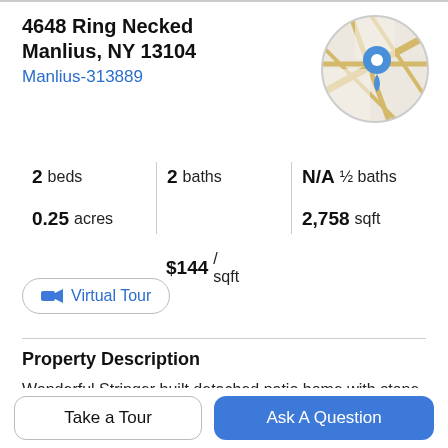4648 Ring Necked
Manlius, NY 13104
Manlius-313889
[Figure (map): Circular map thumbnail showing street map with blue location pin marker]
2 beds | 2 baths | N/A ½ baths | 0.25 acres | 2,758 sqft | $144 / sqft
Virtual Tour
Property Description
Wonderful Stringer built detached patio home with stone front accents and over 2700 sq. ft. of living space. The open floor plan boasts 9' ceilings, bay windows, gleaming hardwoods, French door, recessed lighting, columns, tula
Take a Tour
Ask A Question